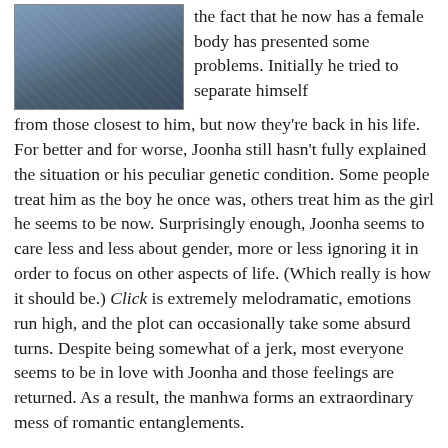[Figure (illustration): Manga cover image for Click, showing a character on a motorcycle]
the fact that he now has a female body has presented some problems. Initially he tried to separate himself from those closest to him, but now they're back in his life. For better and for worse, Joonha still hasn't fully explained the situation or his peculiar genetic condition. Some people treat him as the boy he once was, others treat him as the girl he seems to be now. Surprisingly enough, Joonha seems to care less and less about gender, more or less ignoring it in order to focus on other aspects of life. (Which really is how it should be.) Click is extremely melodramatic, emotions run high, and the plot can occasionally take some absurd turns. Despite being somewhat of a jerk, most everyone seems to be in love with Joonha and those feelings are returned. As a result, the manhwa forms an extraordinary mess of romantic entanglements.
Crimson Spell, Volumes 3–4 by Ayano Yamane. The first two volumes of Crimson Spell were originally
[Figure (illustration): Manga cover image for Crimson Spell showing anime characters with light hair]